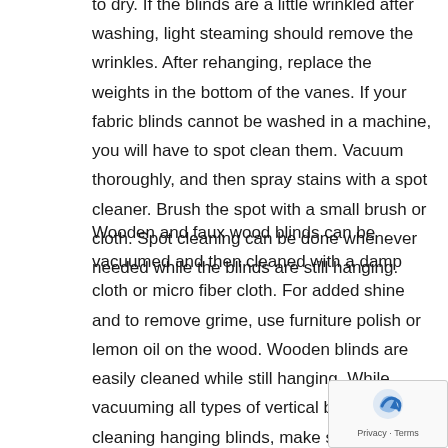to dry. If the blinds are a little wrinkled after washing, light steaming should remove the wrinkles. After rehanging, replace the weights in the bottom of the vanes. If your fabric blinds cannot be washed in a machine, you will have to spot clean them. Vacuum thoroughly, and then spray stains with a spot cleaner. Brush the spot with a small brush or cloth. Spot cleaning can be done whenever needed while the blinds are still hanging.
Wooden and faux wood blinds can be vacuumed and then cleaned with a damp cloth or micro fiber cloth. For added shine and to remove grime, use furniture polish or lemon oil on the wood. Wooden blinds are easily cleaned while still hanging. While vacuuming all types of vertical blinds or cleaning hanging blinds, make sure to open the blinds one way, clean, and then open them so they face the other way, and clean that side. This is important so that both sides of the blinds will be cleaned. After cleaning, your vertical blinds will be like new again.